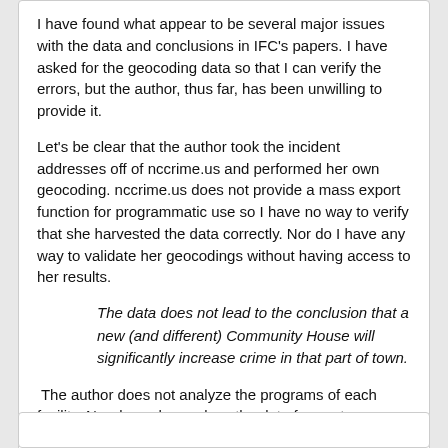I have found what appear to be several major issues with the data and conclusions in IFC's papers.  I have asked for the geocoding data so that I can verify the errors, but the author, thus far, has been unwilling to provide it.
Let's be clear that the author took the incident addresses off of nccrime.us and performed her own geocoding.  nccrime.us does not provide a mass export function for programmatic use so I have no way to verify that she harvested the data correctly.  Nor do I have any way to validate her geocodings without having access to her results.
The data does not lead to the conclusion that a new (and different) Community House will significantly increase crime in that part of town.
The author does not analyze the programs of each facility.  Nor does she analyze the data from a town planning point of view.
Log in to post comments